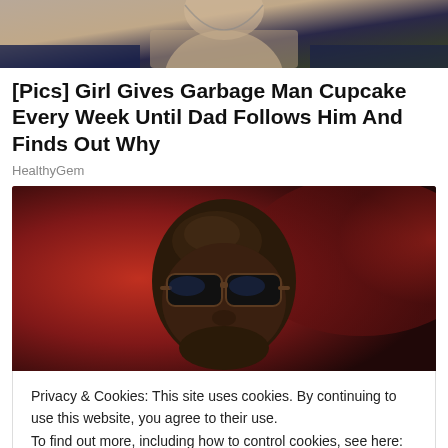[Figure (photo): Partial view of a person's lower face and neck area against a dark background, top of page cropped]
[Pics] Girl Gives Garbage Man Cupcake Every Week Until Dad Follows Him And Finds Out Why
HealthyGem
[Figure (photo): Close-up photo of a bald man wearing dark sunglasses, photographed against a red blurred background]
Privacy & Cookies: This site uses cookies. By continuing to use this website, you agree to their use.
To find out more, including how to control cookies, see here: Cookie Policy
Close and accept
Terrell Owens finds out the hard way that white